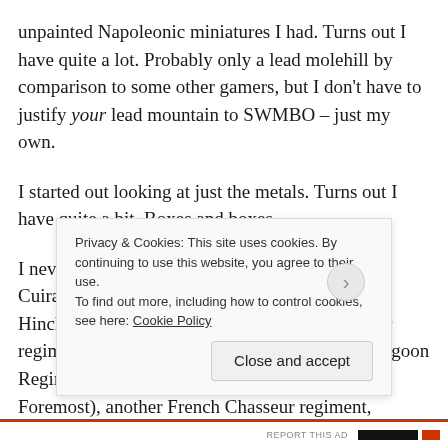unpainted Napoleonic miniatures I had. Turns out I have quite a lot. Probably only a lead molehill by comparison to some other gamers, but I don't have to justify your lead mountain to SWMBO – just my own.
I started out looking at just the metals. Turns out I have quite a bit. Boxes and boxes.
I never actually knew that I had four French Cuirassier Regiments (two Front Rank, one Hinchliffe and one Connoisseur), two Carabineer regiments (Hinchliffe and Connoisseur), two Dragoon Regiments (mixture of Hinchliffe and Hinchliffe Foremost), another French Chasseur regiment,
Privacy & Cookies: This site uses cookies. By continuing to use this website, you agree to their use.
To find out more, including how to control cookies, see here: Cookie Policy
Close and accept